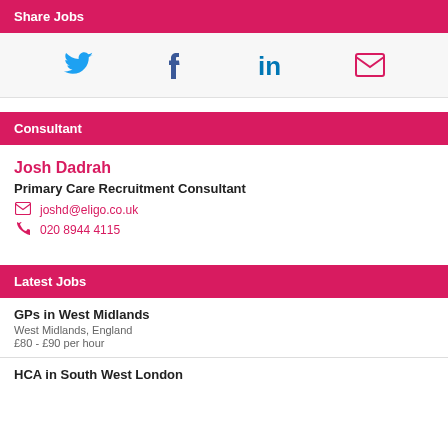Share Jobs
[Figure (infographic): Social sharing icons: Twitter (bird), Facebook (f), LinkedIn (in), Email (envelope)]
Consultant
Josh Dadrah
Primary Care Recruitment Consultant
joshd@eligo.co.uk
020 8944 4115
Latest Jobs
GPs in West Midlands
West Midlands, England
£80 - £90 per hour
HCA in South West London